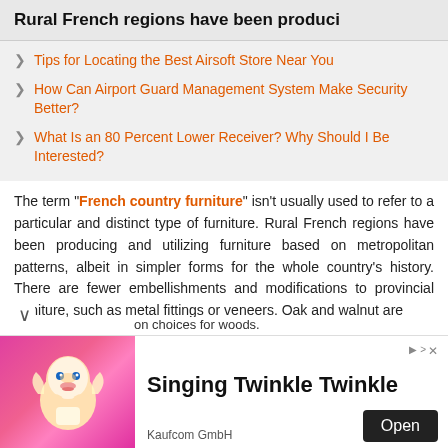Rural French regions have been produci
Tips for Locating the Best Airsoft Store Near You
How Can Airport Guard Management System Make Security Better?
What Is an 80 Percent Lower Receiver? Why Should I Be Interested?
The term "French country furniture" isn't usually used to refer to a particular and distinct type of furniture. Rural French regions have been producing and utilizing furniture based on metropolitan patterns, albeit in simpler forms for the whole country's history. There are fewer embellishments and modifications to provincial furniture, such as metal fittings or veneers. Oak and walnut are on choices for woods.
[Figure (illustration): Advertisement banner: animated baby character on pink background with text 'Singing Twinkle Twinkle', Open button, and Kaufcom GmbH attribution]